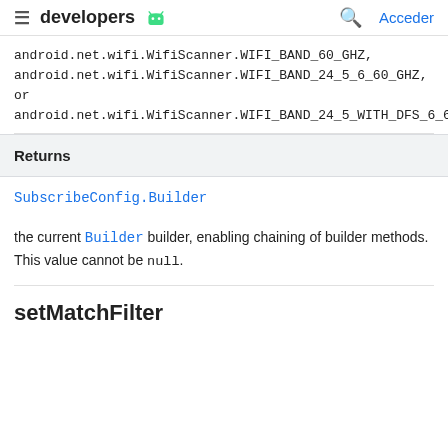developers [Android logo] [search] Acceder
android.net.wifi.WifiScanner.WIFI_BAND_60_GHZ, android.net.wifi.WifiScanner.WIFI_BAND_24_5_6_60_GHZ, or android.net.wifi.WifiScanner.WIFI_BAND_24_5_WITH_DFS_6_60_
Returns
SubscribeConfig.Builder
the current Builder builder, enabling chaining of builder methods. This value cannot be null.
setMatchFilter